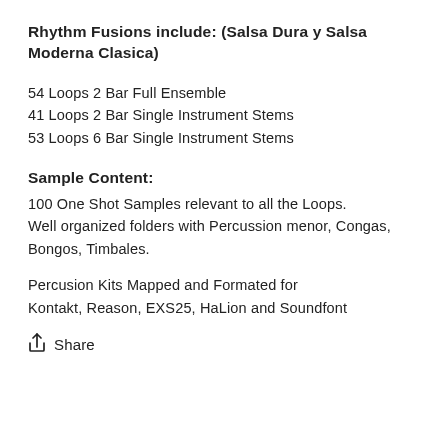Rhythm Fusions include: (Salsa Dura y Salsa Moderna Clasica)
54 Loops 2 Bar Full Ensemble
41 Loops 2 Bar Single Instrument Stems
53 Loops 6 Bar Single Instrument Stems
Sample Content:
100 One Shot Samples relevant to all the Loops.
Well organized folders with Percussion menor, Congas, Bongos, Timbales.
Percusion Kits Mapped and Formated for Kontakt, Reason, EXS25, HaLion and Soundfont
Share